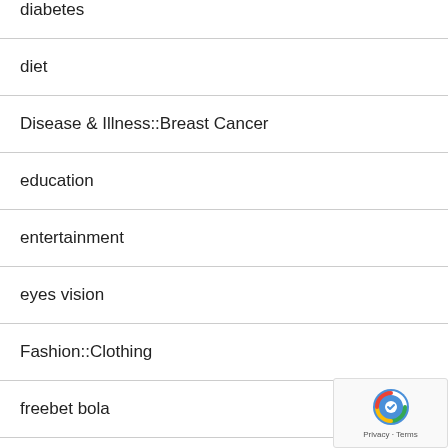diabetes
diet
Disease & Illness::Breast Cancer
education
entertainment
eyes vision
Fashion::Clothing
freebet bola
gambling
gaming